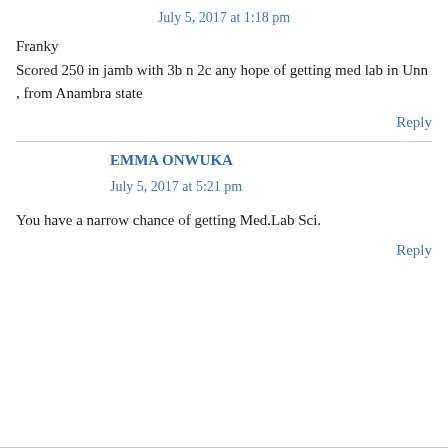July 5, 2017 at 1:18 pm
Franky
Scored 250 in jamb with 3b n 2c any hope of getting med lab in Unn , from Anambra state
Reply
EMMA ONWUKA
July 5, 2017 at 5:21 pm
You have a narrow chance of getting Med.Lab Sci.
Reply